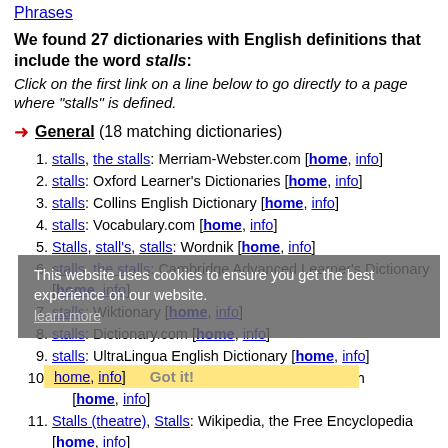Phrases
We found 27 dictionaries with English definitions that include the word stalls:
Click on the first link on a line below to go directly to a page where "stalls" is defined.
General (18 matching dictionaries)
stalls, the stalls: Merriam-Webster.com [home, info]
stalls: Oxford Learner's Dictionaries [home, info]
stalls: Collins English Dictionary [home, info]
stalls: Vocabulary.com [home, info]
Stalls, stall's, stalls: Wordnik [home, info]
stalls, the stalls: Cambridge Advanced Learner's Dictionary [home, info]
stalls: Wiktionary [home, info]
stalls: Dictionary.com [home, info]
stalls: UltraLingua English Dictionary [home, info]
stalls: Cambridge Dictionary of American English [home, info]
Stalls (theatre), Stalls: Wikipedia, the Free Encyclopedia [home, info]
stalls: Rhymezone [home, info]